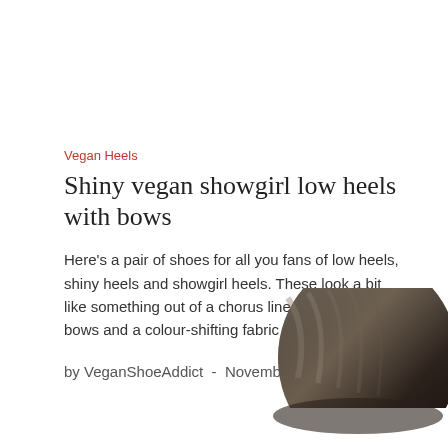Vegan Heels
Shiny vegan showgirl low heels with bows
Here's a pair of shoes for all you fans of low heels, shiny heels and showgirl heels. These look a bit like something out of a chorus line, with sparkly bows and a colour-shifting fabric upper (with faux
by VeganShoeAddict  -  November 18, 2011
[Figure (photo): Partial view of dark shiny heeled shoes, visible in the bottom-right corner of the page]